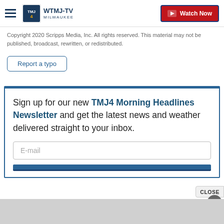WTMJ-TV MILWAUKEE | Watch Now
Copyright 2020 Scripps Media, Inc. All rights reserved. This material may not be published, broadcast, rewritten, or redistributed.
Report a typo
Sign up for our new TMJ4 Morning Headlines Newsletter and get the latest news and weather delivered straight to your inbox.